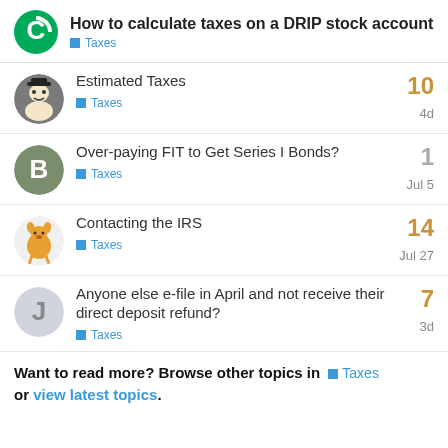How to calculate taxes on a DRIP stock account — Taxes
Estimated Taxes — Taxes — 10 replies — 4d
Over-paying FIT to Get Series I Bonds? — Taxes — 1 reply — Jul 5
Contacting the IRS — Taxes — 14 replies — Jul 27
Anyone else e-file in April and not receive their direct deposit refund? — Taxes — 7 replies — 3d
Want to read more? Browse other topics in Taxes or view latest topics.